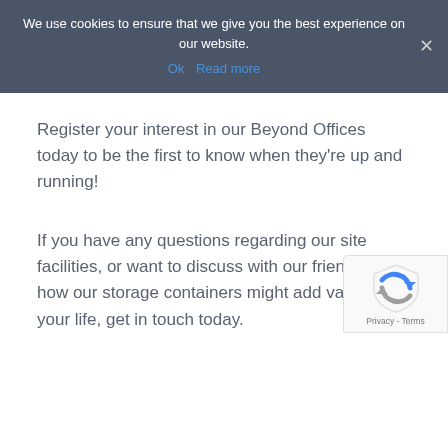We use cookies to ensure that we give you the best experience on our website.
Ok  Read more
Register your interest in our Beyond Offices today to be the first to know when they're up and running!
If you have any questions regarding our site facilities, or want to discuss with our friendly team how our storage containers might add value to your life, get in touch today.
[Figure (logo): reCAPTCHA badge with shield icon and Privacy - Terms text]